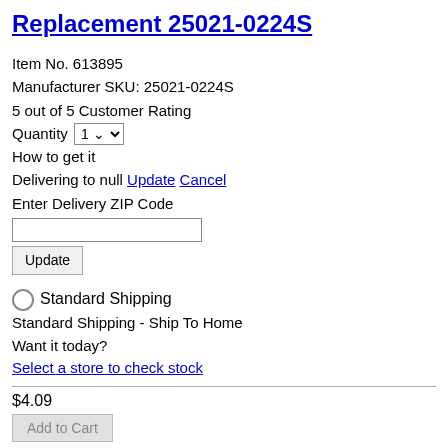Replacement 25021-0224S
Item No. 613895
Manufacturer SKU: 25021-0224S
5 out of 5 Customer Rating
Quantity 1
How to get it
Delivering to null Update Cancel
Enter Delivery ZIP Code
Standard Shipping
Standard Shipping - Ship To Home
Want it today?
Select a store to check stock
$4.09
Add to Cart